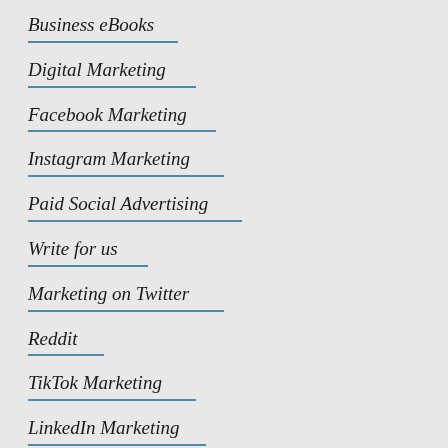Business eBooks
Digital Marketing
Facebook Marketing
Instagram Marketing
Paid Social Advertising
Write for us
Marketing on Twitter
Reddit
TikTok Marketing
LinkedIn Marketing